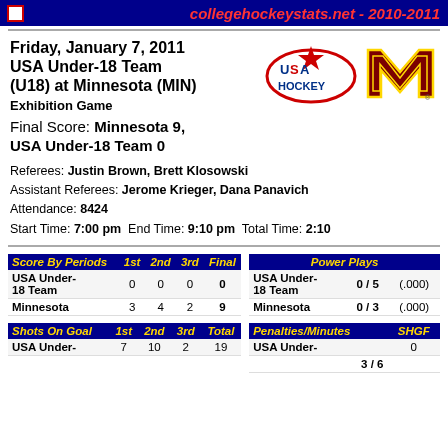collegehockeystats.net - 2010-2011
Friday, January 7, 2011
USA Under-18 Team (U18) at Minnesota (MIN)
Exhibition Game
Final Score: Minnesota 9, USA Under-18 Team 0
Referees: Justin Brown, Brett Klosowski
Assistant Referees: Jerome Krieger, Dana Panavich
Attendance: 8424
Start Time: 7:00 pm  End Time: 9:10 pm  Total Time: 2:10
| Score By Periods | 1st | 2nd | 3rd | Final |
| --- | --- | --- | --- | --- |
| USA Under-18 Team | 0 | 0 | 0 | 0 |
| Minnesota | 3 | 4 | 2 | 9 |
| Power Plays |  |  |
| --- | --- | --- |
| USA Under-18 Team | 0 / 5 | (.000) |
| Minnesota | 0 / 3 | (.000) |
| Shots On Goal | 1st | 2nd | 3rd | Total |
| --- | --- | --- | --- | --- |
| USA Under- | 7 | 10 | 2 | 19 |
| Penalties/Minutes | SHGF |
| --- | --- |
| USA Under- | 3 / 6 | 0 |